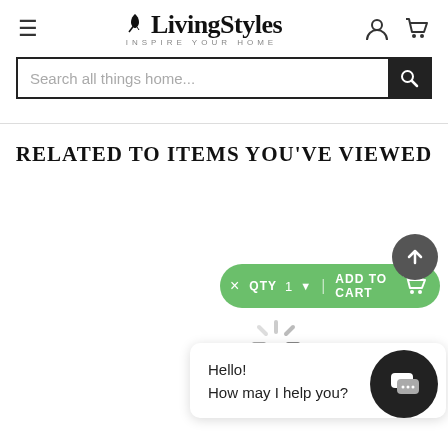[Figure (logo): LivingStyles logo with leaf decoration and tagline INSPIRE YOUR HOME]
[Figure (screenshot): Search bar with placeholder text Search all things home... and search button]
RELATED TO ITEMS YOU'VE VIEWED
[Figure (screenshot): Green Add to Cart bar with QTY 1 dropdown and cart icon]
[Figure (screenshot): Loading spinner]
Hello!
How may I help you?
[Figure (screenshot): Scroll to top button (dark circle with up arrow)]
[Figure (screenshot): Chat button (dark circle with chat icon)]